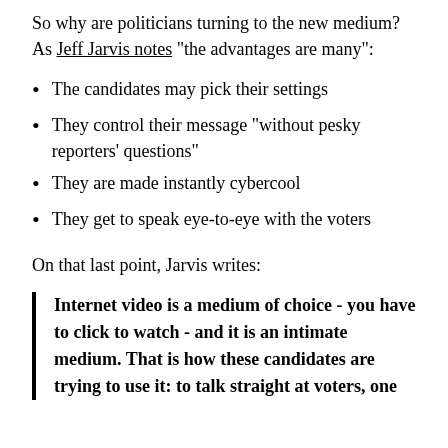So why are politicians turning to the new medium? As Jeff Jarvis notes "the advantages are many":
The candidates may pick their settings
They control their message "without pesky reporters' questions"
They are made instantly cybercool
They get to speak eye-to-eye with the voters
On that last point, Jarvis writes:
Internet video is a medium of choice - you have to click to watch - and it is an intimate medium. That is how these candidates are trying to use it: to talk straight at voters, one